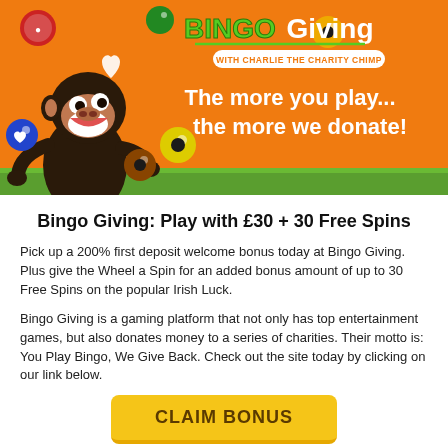[Figure (illustration): Bingo Giving promotional banner with orange background, cartoon chimp mascot (Charlie the Charity Chimp) juggling bingo balls, green logo text 'BINGO Giving', subtitle 'WITH CHARLIE THE CHARITY CHIMP', and white bold text 'The more you play... the more we donate!' on an orange background with a green grass strip at the bottom.]
Bingo Giving: Play with £30 + 30 Free Spins
Pick up a 200% first deposit welcome bonus today at Bingo Giving. Plus give the Wheel a Spin for an added bonus amount of up to 30 Free Spins on the popular Irish Luck.
Bingo Giving is a gaming platform that not only has top entertainment games, but also donates money to a series of charities. Their motto is: You Play Bingo, We Give Back. Check out the site today by clicking on our link below.
CLAIM BONUS